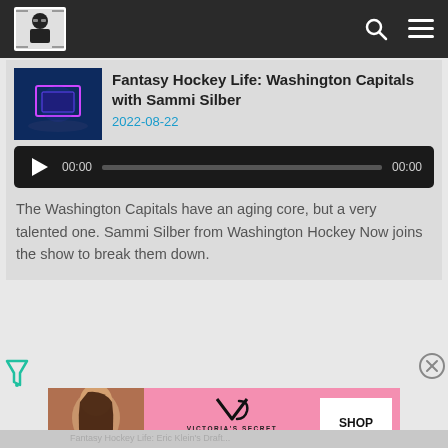Fantasy Hockey Life header with logo and navigation icons
Fantasy Hockey Life: Washington Capitals with Sammi Silber
2022-08-22
[Figure (other): Audio player with play button, 00:00 timestamp, progress bar, and 00:00 end time on dark background]
The Washington Capitals have an aging core, but a very talented one. Sammi Silber from Washington Hockey Now joins the show to break them down.
[Figure (other): Victoria's Secret advertisement banner with model photo, VS logo, 'SHOP THE COLLECTION' text and 'SHOP NOW' button]